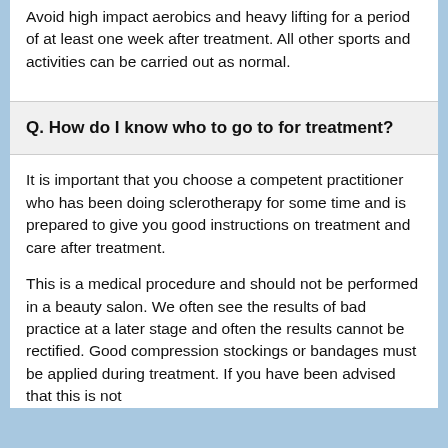Avoid high impact aerobics and heavy lifting for a period of at least one week after treatment. All other sports and activities can be carried out as normal.
Q. How do I know who to go to for treatment?
It is important that you choose a competent practitioner who has been doing sclerotherapy for some time and is prepared to give you good instructions on treatment and care after treatment.
This is a medical procedure and should not be performed in a beauty salon. We often see the results of bad practice at a later stage and often the results cannot be rectified. Good compression stockings or bandages must be applied during treatment. If you have been advised that this is not